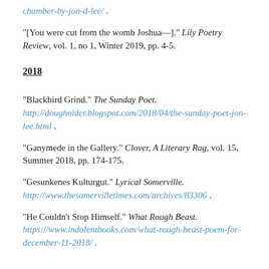chamber-by-jon-d-lee/ .
"[You were cut from the womb Joshua—]." Lily Poetry Review, vol. 1, no 1, Winter 2019, pp. 4-5.
2018
"Blackbird Grind." The Sunday Poet. http://dougholder.blogspot.com/2018/04/the-sunday-poet-jon-lee.html .
"Ganymede in the Gallery." Clover, A Literary Rag, vol. 15, Summer 2018, pp. 174-175.
"Gesunkenes Kulturgut." Lyrical Somerville. http://www.thesomervilletimes.com/archives/83306 .
"He Couldn't Stop Himself." What Rough Beast. https://www.indolentbooks.com/what-rough-beast-poem-for-december-11-2018/ .